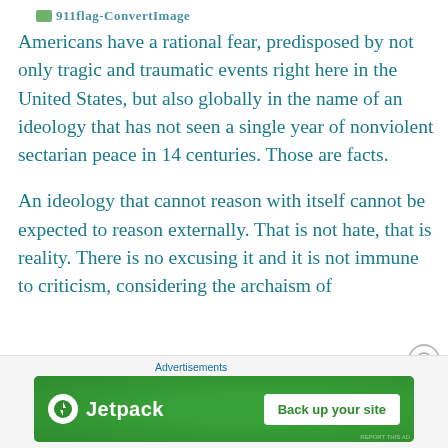911flag-ConvertImage
Americans have a rational fear, predisposed by not only tragic and traumatic events right here in the United States, but also globally in the name of an ideology that has not seen a single year of nonviolent sectarian peace in 14 centuries. Those are facts.
An ideology that cannot reason with itself cannot be expected to reason externally. That is not hate, that is reality. There is no excusing it and it is not immune to criticism, considering the archaism of
Advertisements
[Figure (other): Jetpack advertisement banner with logo and 'Back up your site' button on green background]